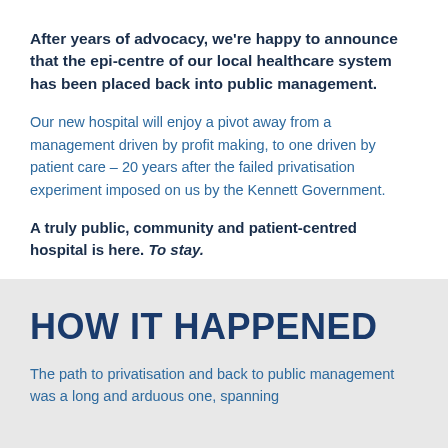After years of advocacy, we're happy to announce that the epi-centre of our local healthcare system has been placed back into public management.
Our new hospital will enjoy a pivot away from a management driven by profit making, to one driven by patient care – 20 years after the failed privatisation experiment imposed on us by the Kennett Government.
A truly public, community and patient-centred hospital is here. To stay.
HOW IT HAPPENED
The path to privatisation and back to public management was a long and arduous one, spanning